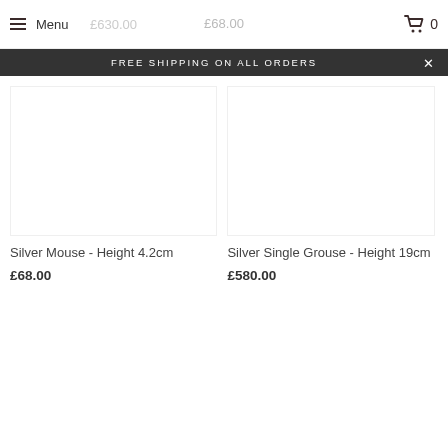Menu | £630.00 | £68.00 | 🛒 0
FREE SHIPPING ON ALL ORDERS
Silver Mouse - Height 4.2cm
£68.00
Silver Single Grouse - Height 19cm
£580.00